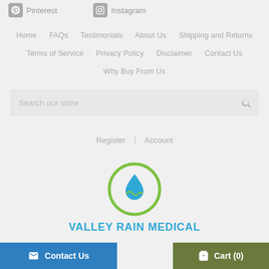Pinterest  Instagram
Home  FAQs  Testimonials  About Us  Shipping and Returns
Terms of Service  Privacy Policy  Disclaimer  Contact Us
Why Buy From Us
Search our store
Register  |  Account
[Figure (logo): Valley Rain Medical logo: a circular green ring containing a blue water droplet with green water wave beneath it, with text VALLEY RAIN MEDICAL below in bold cyan/blue uppercase letters]
Contact Us
Cart (0)